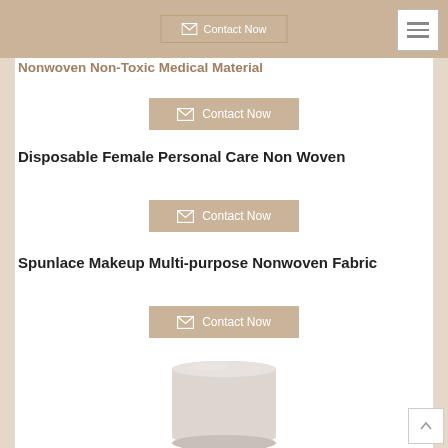[Figure (screenshot): Top navigation bar with tan/beige background, a Contact Now button with envelope icon, and a hamburger menu icon in the top right corner.]
Nonwoven Non-Toxic Medical Material
[Figure (other): Contact Now button with envelope icon, tan/beige background]
Disposable Female Personal Care Non Woven
[Figure (other): Contact Now button with envelope icon, tan/beige background]
Spunlace Makeup Multi-purpose Nonwoven Fabric
[Figure (other): Contact Now button with envelope icon, tan/beige background]
[Figure (photo): A roll of light pinkish-white nonwoven fabric material shown vertically.]